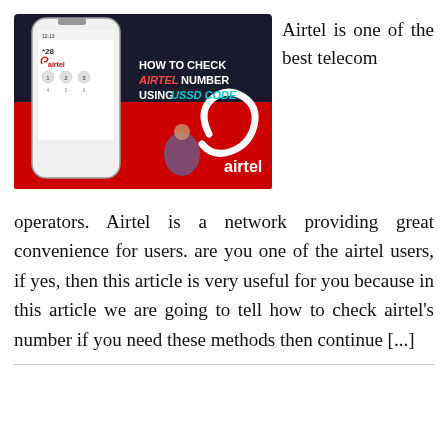[Figure (screenshot): Promotional image for Airtel showing a smartphone with keypad, text 'HOW TO CHECK AIRTEL NUMBER USING USSD CODE', Airtel logo, and a woman holding a phone on a red and dark background.]
Airtel is one of the best telecom
operators. Airtel is a network providing great convenience for users. are you one of the airtel users, if yes, then this article is very useful for you because in this article we are going to tell how to check airtel's number if you need these methods then continue [...]